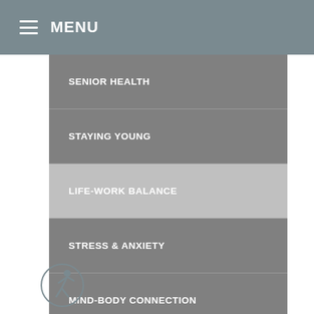MENU
SENIOR HEALTH
STAYING YOUNG
LIFE-WORK BALANCE
STRESS & ANXIETY
MIND-BODY CONNECTION
WELLNESS
PREGNANCY & PARENTING
WEIGHT LOSS
BREAKING BAD HABITS